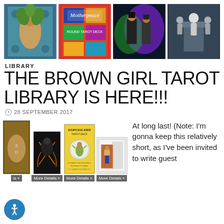[Figure (photo): Four tarot deck images in a row at the top of the page: illustrated woman with plants, Motherpeace Round Tarot Deck box, colorful figure in suit, and skeleton figures.]
LIBRARY
THE BROWN GIRL TAROT LIBRARY IS HERE!!!
28 SEPTEMBER 2017
[Figure (photo): Four tarot deck product images in a row: Japanese-style figure, dark bird/figure, Egipcios Kier Tarot Deck box in yellow, and a white box with card. Each has a 'More Details »' button below.]
At long last! (Note: I'm gonna keep this relatively short, as I've been invited to write guest